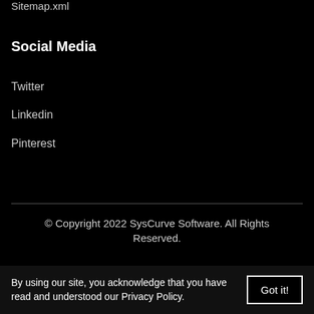Sitemap.xml
Social Media
Twitter
Linkedin
Pinterest
© Copyright 2022 SysCurve Software. All Rights Reserved.
By using our site, you acknowledge that you have read and understood our Privacy Policy.  Got it!